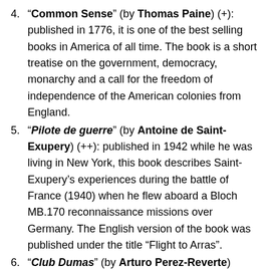"Common Sense" (by Thomas Paine) (+): published in 1776, it is one of the best selling books in America of all time. The book is a short treatise on the government, democracy, monarchy and a call for the freedom of independence of the American colonies from England.
"Pilote de guerre" (by Antoine de Saint-Exupery) (++): published in 1942 while he was living in New York, this book describes Saint-Exupery's experiences during the battle of France (1940) when he flew aboard a Bloch MB.170 reconnaissance missions over Germany. The English version of the book was published under the title "Flight to Arras".
"Club Dumas" (by Arturo Perez-Reverte) (+++): this novel is centered on Lucas Corso, a fictional book dealer specialized in finding collectors items. Corso is